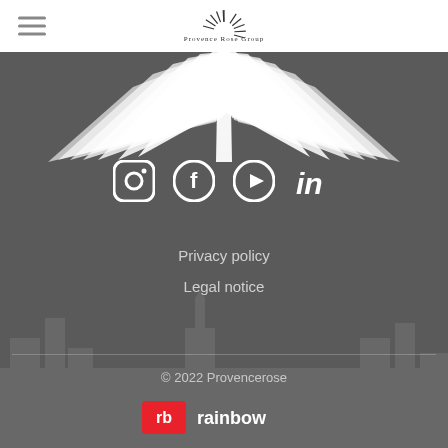[Figure (logo): Provence Rose Group logo with sunburst rays and cursive text in top navigation bar]
[Figure (illustration): Sunburst/rays graphic in white on dark grey background at top of footer area]
[Figure (illustration): Social media icons row: Instagram, Facebook, YouTube, LinkedIn in white on dark grey]
Privacy policy
Legal notice
© 2022 Provencerose
[Figure (logo): Rainbow agency logo: red square with 'rb' in white and 'rainbow' text in white]